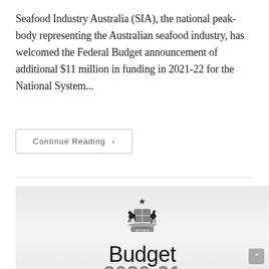Seafood Industry Australia (SIA), the national peak-body representing the Australian seafood industry, has welcomed the Federal Budget announcement of additional $11 million in funding in 2021-22 for the National System...
Continue Reading ›
[Figure (illustration): Australian Government Budget 2020-21 document cover showing the Australian coat of arms crest above large text reading 'Budget' and '2020-21' in grey below.]